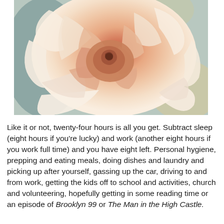[Figure (photo): Close-up photograph of a cream and peach-colored rose in full bloom, showing delicate spiral petals with a soft warm color gradient from deep peachy-orange at the center to pale cream-white at the edges.]
Like it or not, twenty-four hours is all you get. Subtract sleep (eight hours if you're lucky) and work (another eight hours if you work full time) and you have eight left. Personal hygiene, prepping and eating meals, doing dishes and laundry and picking up after yourself, gassing up the car, driving to and from work, getting the kids off to school and activities, church and volunteering, hopefully getting in some reading time or an episode of Brooklyn 99 or The Man in the High Castle.